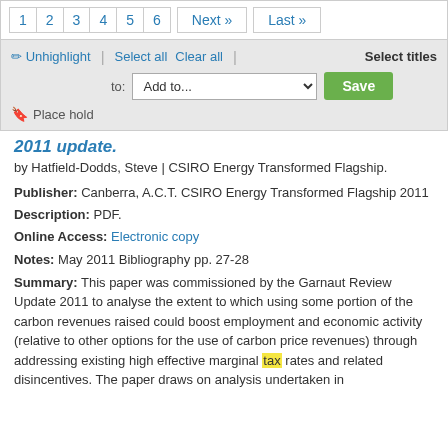1 2 3 4 5 6 Next » Last »
Unhighlight | Select all Clear all | Select titles to: Add to... Save Place hold
2011 update.
by Hatfield-Dodds, Steve | CSIRO Energy Transformed Flagship.
Publisher: Canberra, A.C.T. CSIRO Energy Transformed Flagship 2011
Description: PDF.
Online Access: Electronic copy
Notes: May 2011 Bibliography pp. 27-28
Summary: This paper was commissioned by the Garnaut Review Update 2011 to analyse the extent to which using some portion of the carbon revenues raised could boost employment and economic activity (relative to other options for the use of carbon price revenues) through addressing existing high effective marginal tax rates and related disincentives. The paper draws on analysis undertaken in